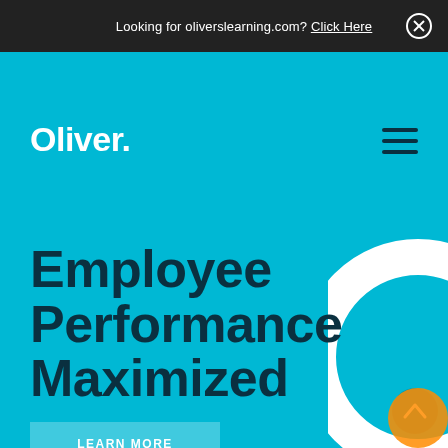Looking for oliverslearning.com? Click Here
Oliver.
Employee Performance Maximized
LEARN MORE